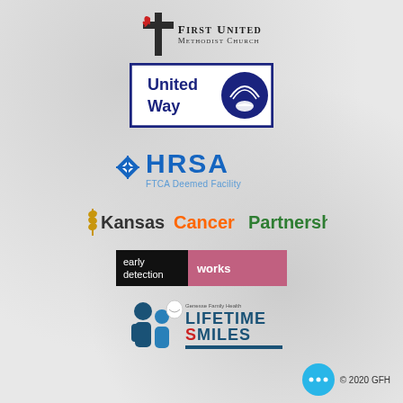[Figure (logo): First United Methodist Church logo with red cross and text]
[Figure (logo): United Way logo with navy blue box and rainbow/hands icon]
[Figure (logo): HRSA FTCA Deemed Facility logo with blue snowflake icon and blue text]
[Figure (logo): Kansas Cancer Partnership logo with wheat stalk icon and colored text]
[Figure (logo): Early Detection Works logo black and pink rectangular badge]
[Figure (logo): Lifetime Smiles Genesse Family Health logo with stylized figures]
© 2020 GFH